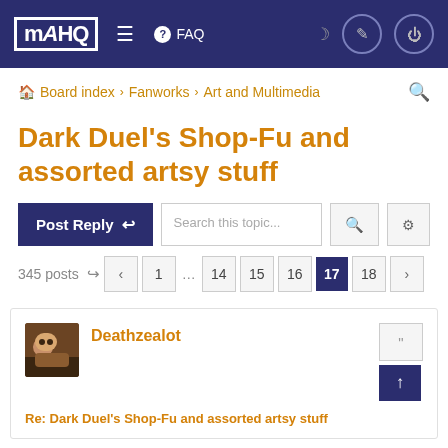MAHQ  ≡  ❓ FAQ
Board index › Fanworks › Art and Multimedia
Dark Duel's Shop-Fu and assorted artsy stuff
Post Reply  Search this topic...
345 posts  < 1 … 14 15 16 17 18 >
Deathzealot
Re: Dark Duel's Shop-Fu and assorted artsy stuff